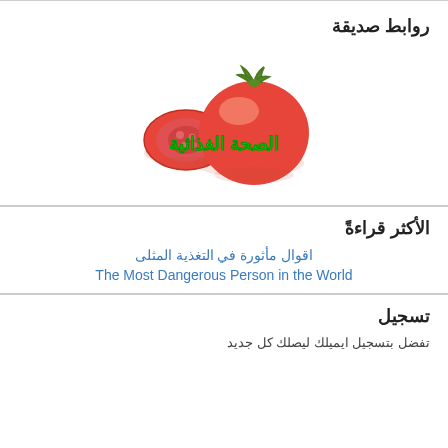روابط صديقة
[Figure (photo): A tomato and a tomato slice on white background, with green Arabic text 'الصحة الغذائية' overlaid on the image]
الأكثر قراءةً
اقوال مأثورة في التغذية المثلى
The Most Dangerous Person in the World
تسجيل
تفضل بتسجيل ايميلك ليصلك كل جديد